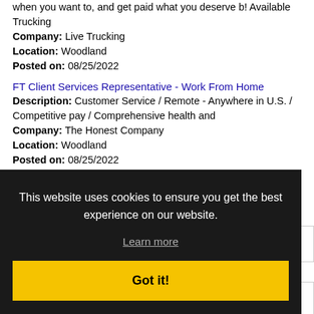when you want to, and get paid what you deserve b! Available Trucking
Company: Live Trucking
Location: Woodland
Posted on: 08/25/2022
FT Client Services Representative - Work From Home
Description: Customer Service / Remote - Anywhere in U.S. / Competitive pay / Comprehensive health and
Company: The Honest Company
Location: Woodland
Posted on: 08/25/2022
Loading more jobs...
This website uses cookies to ensure you get the best experience on our website.
Learn more
Got it!
Username:
Password: